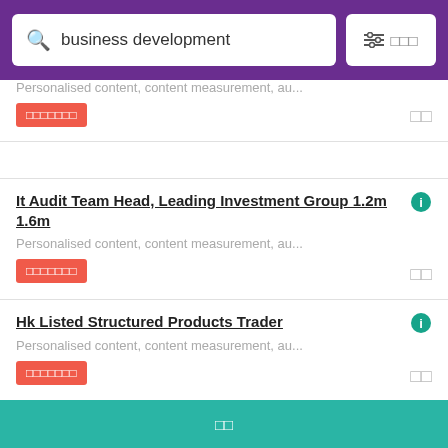business development
Personalised content, content measurement, au...
□□□□□□□
It Audit Team Head, Leading Investment Group 1.2m 1.6m
Personalised content, content measurement, au...
□□□□□□□
Hk Listed Structured Products Trader
Personalised content, content measurement, au...
□□□□□□□
Cto Fintech 80k 100k
Provide business insights in product developm...
□□